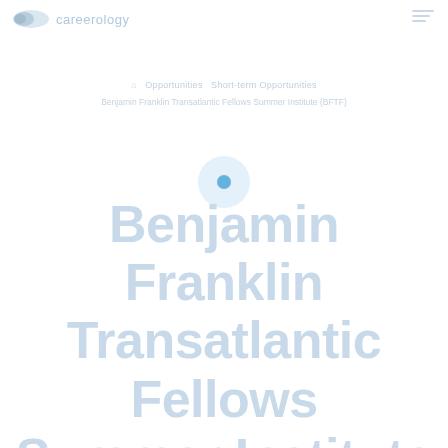careerology
Opportunities / Short-term Opportunities
Benjamin Franklin Transatlantic Fellows Summer Institute (BFTF)
Benjamin Franklin Transatlantic Fellows Summer Institute (BFTF)